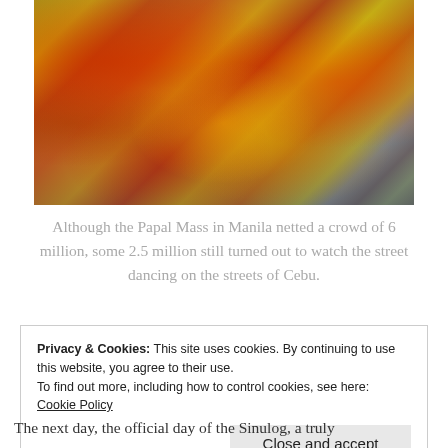[Figure (photo): Festival street dancing in Cebu, Philippines — performers in elaborate red, yellow, and gold sunburst costumes dancing on a city street with a crowd watching.]
Although the Papal Mass in Manila netted a crowd of 6 million, some 2.5 million still turned out to watch the street dancing on the streets of Cebu.
Privacy & Cookies: This site uses cookies. By continuing to use this website, you agree to their use.
To find out more, including how to control cookies, see here: Cookie Policy
Close and accept
The next day, the official day of the Sinulog, a truly